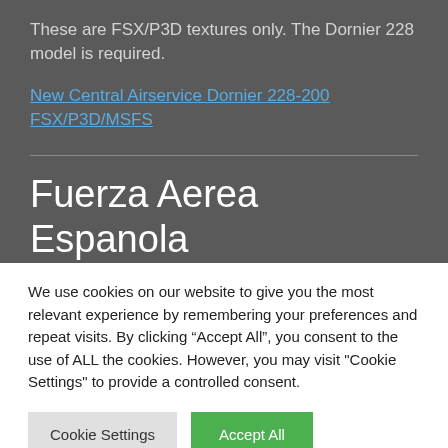These are FSX/P3D textures only. The Dornier 228 model is required.
New Central Airservice Dornier 228-200 FSX/P3D/MSFS
Fuerza Aerea Espanola
We use cookies on our website to give you the most relevant experience by remembering your preferences and repeat visits. By clicking “Accept All”, you consent to the use of ALL the cookies. However, you may visit "Cookie Settings" to provide a controlled consent.
Cookie Settings | Accept All